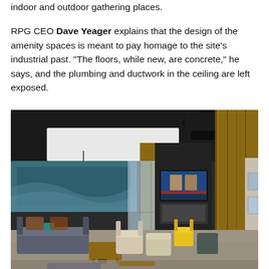indoor and outdoor gathering places.
RPG CEO Dave Yeager explains that the design of the amenity spaces is meant to pay homage to the site’s industrial past. “The floors, while new, are concrete,” he says, and the plumbing and ductwork in the ceiling are left exposed.
[Figure (photo): Interior photo of a modern lounge/amenity space with exposed black ceiling and ductwork, pendant lights, a large TV mounted on a dark wood feature wall, comfortable seating including sofas and armchairs, concrete floors, and large windows.]